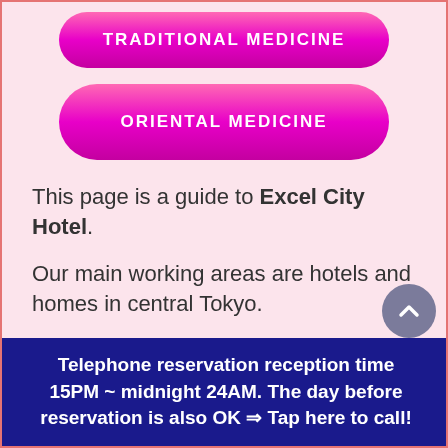[Figure (other): Pink rounded button labeled TRADITIONAL MEDICINE]
[Figure (other): Pink rounded button labeled ORIENTAL MEDICINE]
This page is a guide to Excel City Hotel.
Our main working areas are hotels and homes in central Tokyo.
Reservations are accepted from 3:00 pm to 24:00 am midnight, so if you wish to make a reservation after that (limited to central Tokyo)...
Telephone reservation reception time 15PM ~ midnight 24AM. The day before reservation is also OK ⇒ Tap here to call!